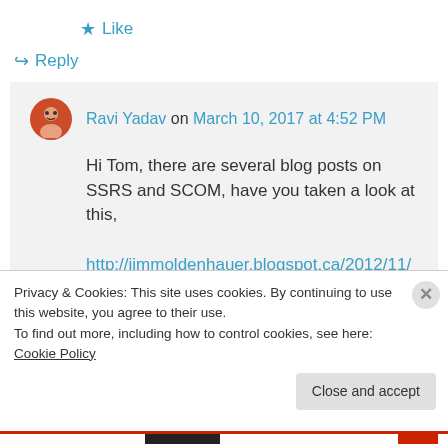★ Like
↪ Reply
Ravi Yadav on March 10, 2017 at 4:52 PM
Hi Tom, there are several blog posts on SSRS and SCOM, have you taken a look at this,
http://jimmoldenhauer.blogspot.ca/2012/11/
Privacy & Cookies: This site uses cookies. By continuing to use this website, you agree to their use.
To find out more, including how to control cookies, see here: Cookie Policy